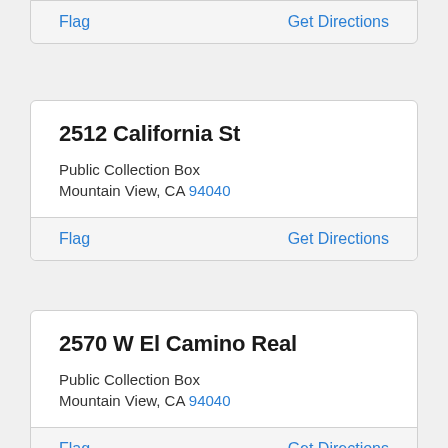Flag   Get Directions
2512 California St
Public Collection Box
Mountain View, CA 94040
Flag   Get Directions
2570 W El Camino Real
Public Collection Box
Mountain View, CA 94040
Flag   Get Directions